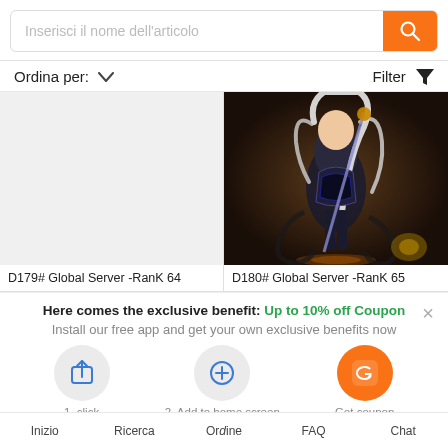Inserisci il nome dell'articolo
Ordina per: ∨    Filter ▼
[Figure (photo): Blank placeholder product image for D179# Global Server -RanK 64]
D179# Global Server -RanK 64
[Figure (photo): Anime figure product image - armored female character with white hair, for D180# Global Server -RanK 65]
D180# Global Server -RanK 65
Here comes the exclusive benefit: Up to 10% off Coupon
Install our free app and get your own exclusive benefits now
1. click
2. Add to home screen
Get coupon
Inizio   Ricerca   Ordine   FAQ   Chat